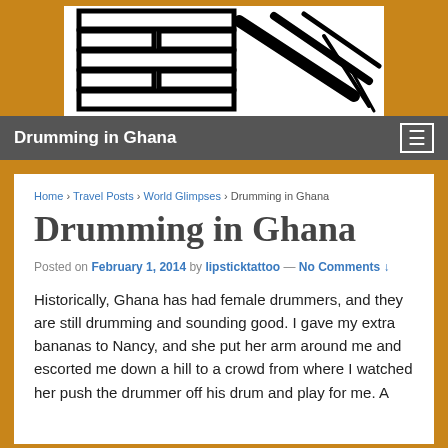[Figure (illustration): Black and white ink drawing of what appears to be a drum or percussion instrument with bold brushstroke lines, displayed on a white background centered at top of page]
Drumming in Ghana
Home › Travel Posts › World Glimpses › Drumming in Ghana
Drumming in Ghana
Posted on February 1, 2014 by lipsticktattoo — No Comments ↓
Historically, Ghana has had female drummers, and they are still drumming and sounding good. I gave my extra bananas to Nancy, and she put her arm around me and escorted me down a hill to a crowd from where I watched her push the drummer off his drum and play for me. A